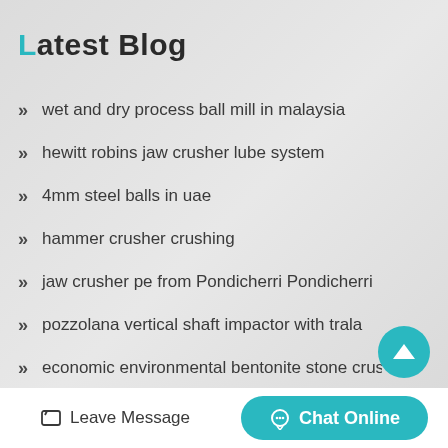Latest Blog
wet and dry process ball mill in malaysia
hewitt robins jaw crusher lube system
4mm steel balls in uae
hammer crusher crushing
jaw crusher pe from Pondicherri Pondicherri
pozzolana vertical shaft impactor with trala
economic environmental bentonite stone crushing machine sel...
dongguan city up another metal c...